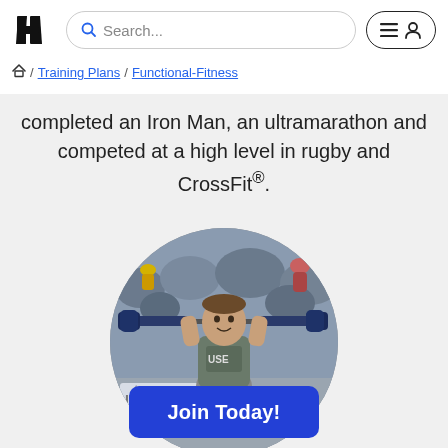HT logo, Search bar, Menu/User button
Home / Training Plans / Functional-Fitness
completed an Iron Man, an ultramarathon and competed at a high level in rugby and CrossFit®.
[Figure (photo): Circular cropped photo of an athlete performing a barbell clean or snatch in a CrossFit competition setting, with crowd in background and fitness branding visible]
Join Today!